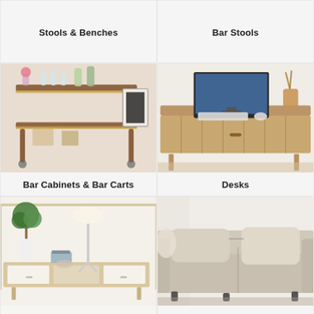Stools & Benches
Bar Stools
[Figure (photo): A wooden bar cart with gold accents holding glasses and bottles, with a framed artwork nearby]
Bar Cabinets & Bar Carts
[Figure (photo): A wooden desk with rattan drawer fronts, with a monitor, keyboard, and decorative items on top]
Desks
[Figure (photo): A Scandinavian-style entertainment unit in light wood and white with a potted tree and floor lamp on top]
Entertainment Units
[Figure (photo): A light beige linen sofa with large cushions and a decorative vase beside it]
Sofas